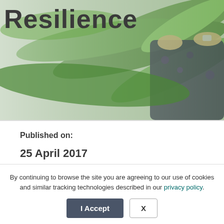[Figure (photo): Partial view of a person working among large green plant leaves (corn/maize field), wearing dark floral clothing and a watch. The image is partially faded/whitened on the left side. The word 'Resilience' appears in large bold text overlaid at the top of the image.]
Resilience
Published on:
25 April 2017
Share this:
[Figure (illustration): Row of social media sharing icons: Facebook (f), Twitter (bird), LinkedIn (in), Email (envelope), and link icon]
By continuing to browse the site you are agreeing to our use of cookies and similar tracking technologies described in our privacy policy.
I Accept
X